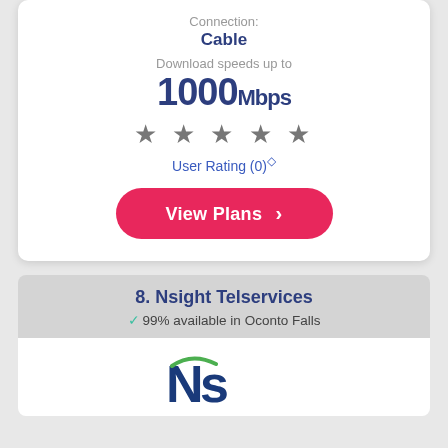Connection:
Cable
Download speeds up to
1000Mbps
[Figure (other): Five grey star rating icons]
User Rating (0)◇
View Plans ›
8. Nsight Telservices
✓ 99% available in Oconto Falls
[Figure (logo): Nsight Telservices logo, partial view showing stylized N with green arc]